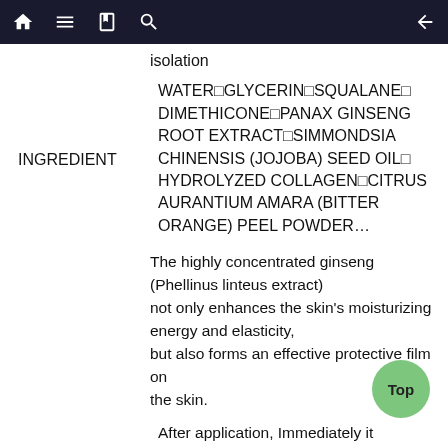Navigation bar with home, menu, book, search, and back icons
isolation
INGREDIENT
WATER□GLYCERIN□SQUALANE□DIMETHICONE□PANAX GINSENG ROOT EXTRACT□SIMMONDSIA CHINENSIS (JOJOBA) SEED OIL□HYDROLYZED COLLAGEN□CITRUS AURANTIUM AMARA (BITTER ORANGE) PEEL POWDER…
The highly concentrated ginseng (Phellinus linteus extract) not only enhances the skin's moisturizing energy and elasticity, but also forms an effective protective film on the skin.
Efficacy
After application, Immediately it penetrates the skin and restores the skin's suppleness and